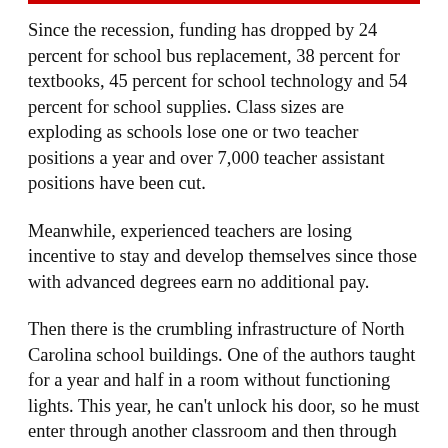Since the recession, funding has dropped by 24 percent for school bus replacement, 38 percent for textbooks, 45 percent for school technology and 54 percent for school supplies. Class sizes are exploding as schools lose one or two teacher positions a year and over 7,000 teacher assistant positions have been cut.
Meanwhile, experienced teachers are losing incentive to stay and develop themselves since those with advanced degrees earn no additional pay.
Then there is the crumbling infrastructure of North Carolina school buildings. One of the authors taught for a year and half in a room without functioning lights. This year, he can't unlock his door, so he must enter through another classroom and then through our adjoining storage closet.
To keep the temperature down during hot months, he